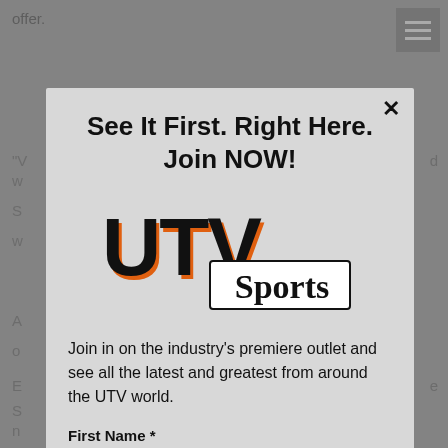offer.
See It First. Right Here. Join NOW!
[Figure (logo): UTV Sports logo — bold block letters 'UTV' in black with orange shadow, and 'Sports' in a white-outlined serif badge below]
Join in on the industry's premiere outlet and see all the latest and greatest from around the UTV world.
First Name *